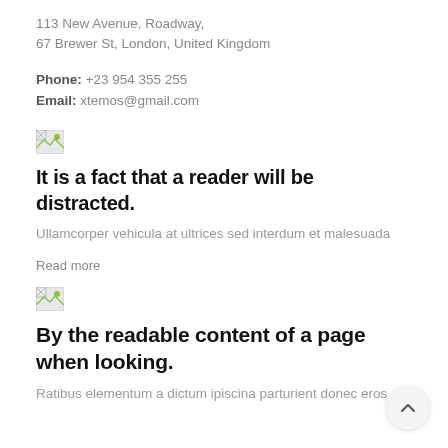113 New Avenue, Roadway,
67 Brewer St, London, United Kingdom
Phone: +23 954 355 255
Email: xtemos@gmail.com
[Figure (photo): Broken image placeholder (small thumbnail)]
It is a fact that a reader will be distracted.
Ullamcorper vehicula at ultrices sed interdum et malesuada
Read more
[Figure (photo): Broken image placeholder (small thumbnail)]
By the readable content of a page when looking.
Ratibus elementum a dictum ipiscina parturient donec eros